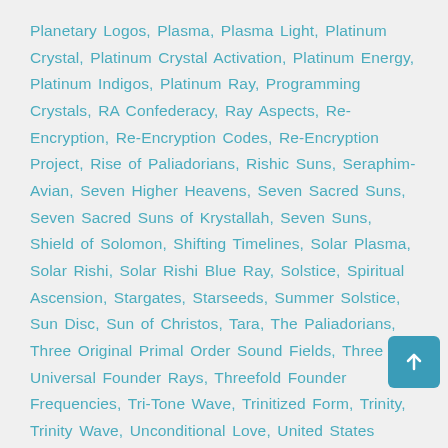Planetary Logos, Plasma, Plasma Light, Platinum Crystal, Platinum Crystal Activation, Platinum Energy, Platinum Indigos, Platinum Ray, Programming Crystals, RA Confederacy, Ray Aspects, Re-Encryption, Re-Encryption Codes, Re-Encryption Project, Rise of Paliadorians, Rishic Suns, Seraphim-Avian, Seven Higher Heavens, Seven Sacred Suns, Seven Sacred Suns of Krystallah, Seven Suns, Shield of Solomon, Shifting Timelines, Solar Plasma, Solar Rishi, Solar Rishi Blue Ray, Solstice, Spiritual Ascension, Stargates, Starseeds, Summer Solstice, Sun Disc, Sun of Christos, Tara, The Paliadorians, Three Original Primal Order Sound Fields, Three Universal Founder Rays, Threefold Founder Frequencies, Tri-Tone Wave, Trinitized Form, Trinity, Trinity Wave, Unconditional Love, United States Government, Universal Founder Rays, Universal Time Matrix, Violet Ray Flame, Violet-Magenta Ray, Winter Solstice, Winter Solstice Gold Body Activation
0 Comments